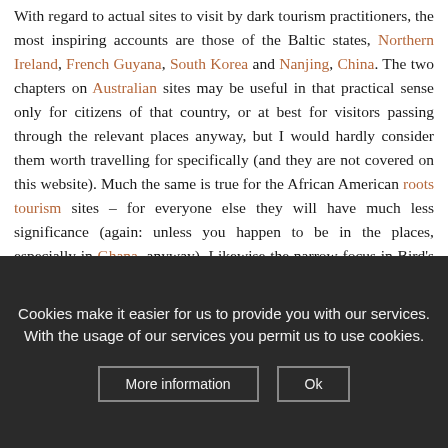With regard to actual sites to visit by dark tourism practitioners, the most inspiring accounts are those of the Baltic states, Northern Ireland, French Guyana, South Korea and Nanjing, China. The two chapters on Australian sites may be useful in that practical sense only for citizens of that country, or at best for visitors passing through the relevant places anyway, but I would hardly consider them worth travelling for specifically (and they are not covered on this website). Much the same is true for the African American roots tourism sites – for everyone else they will have much less significance (again: unless you happen to be in the places, especially in Ghana, anyway). Likewise the narrow focus in Bird's chapter on Canadian-related sites in Normandy, France, will only be relevant to Canadians, and otherwise be only a minor part of a visit to this WWII complex of sites. Yet other sites are, in my view at least, of absolute zero relevance to dark tourists, especially those
Cookies make it easier for us to provide you with our services. With the usage of our services you permit us to use cookies.